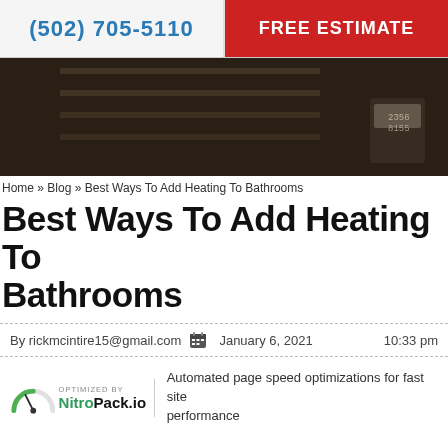(502) 705-5110 | FREE ESTIMATE
[Figure (photo): Dark toned bathroom interior photo used as hero banner image]
Home » Blog » Best Ways To Add Heating To Bathrooms
Best Ways To Add Heating To Bathrooms
By rickmcintire15@gmail.com  January 6, 2021  10:33 pm
[Figure (logo): NitroPack.io optimization badge with speedometer icon. Text: OPTIMIZED BY NitroPack.io | Automated page speed optimizations for fast site performance]